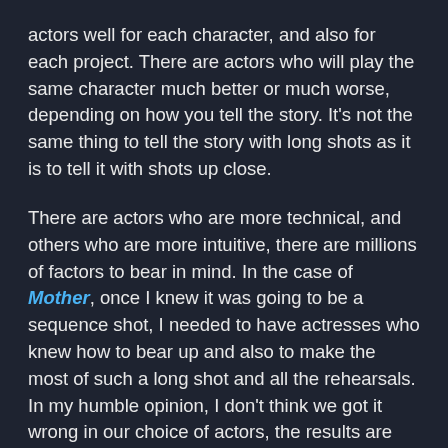actors well for each character, and also for each project. There are actors who will play the same character much better or much worse, depending on how you tell the story. It's not the same thing to tell the story with long shots as it is to tell it with shots up close.
There are actors who are more technical, and others who are more intuitive, there are millions of factors to bear in mind. In the case of Mother, once I knew it was going to be a sequence shot, I needed to have actresses who knew how to bear up and also to make the most of such a long shot and all the rehearsals. In my humble opinion, I don't think we got it wrong in our choice of actors, the results are spectacular.